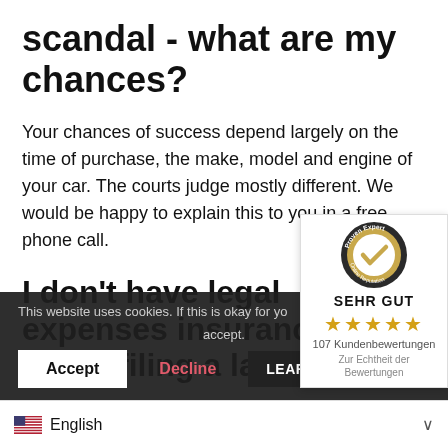scandal - what are my chances?
Your chances of success depend largely on the time of purchase, the make, model and engine of your car. The courts judge mostly different. We would be happy to explain this to you in a free phone call.
I don't have legal expenses insurance – worth filing a lawsuit?
In many cases it is worth filing a lawsuit without litigation financing
This website uses cookies. If this is okay for you accept.
Accept | Decline | LEARN M...
English
[Figure (logo): Proven Expert Online Reputation badge with gold checkmark circle, SEHR GUT label, 5 stars, 107 Kundenbewertungen, Zur Echtheit der Bewertungen]